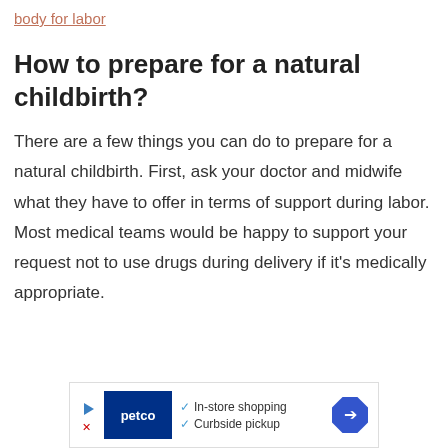body for labor
How to prepare for a natural childbirth?
There are a few things you can do to prepare for a natural childbirth. First, ask your doctor and midwife what they have to offer in terms of support during labor. Most medical teams would be happy to support your request not to use drugs during delivery if it's medically appropriate.
[Figure (other): Petco advertisement banner showing in-store shopping and curbside pickup options]